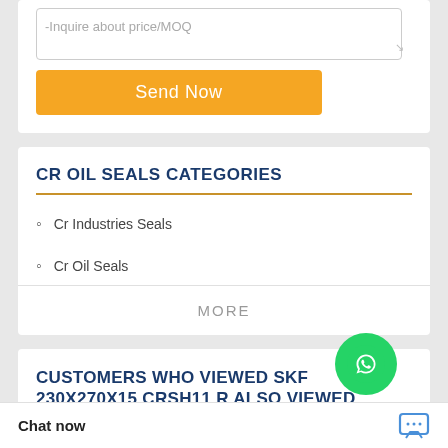-Inquire about price/MOQ
Send Now
CR OIL SEALS CATEGORIES
Cr Industries Seals
Cr Oil Seals
[Figure (illustration): WhatsApp Online green circle icon with phone handset, and italic text 'WhatsApp Online']
MORE
CUSTOMERS WHO VIEWED SKF 230X270X15 CRSH11 R ALSO VIEWED
Chat now